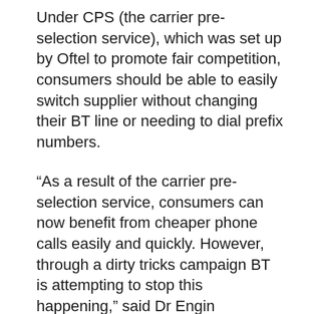Under CPS (the carrier pre-selection service), which was set up by Oftel to promote fair competition, consumers should be able to easily switch supplier without changing their BT line or needing to dial prefix numbers.
“As a result of the carrier pre-selection service, consumers can now benefit from cheaper phone calls easily and quickly. However, through a dirty tricks campaign BT is attempting to stop this happening,” said Dr Engin Mumcuoglu, managing director at TGC.
TGC claims its customers have been falsely informed by BT that CPS may cause problems with broadband and that it is difficult to leave an alternative provider once selected.
“We have numerous examples of BT either cancelling